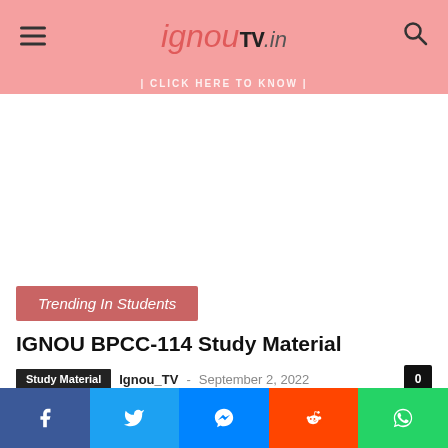ignouTV.in
CLICK HERE TO KNOW
[Figure (other): Advertisement white space area]
Trending In Students
IGNOU BPCC-114 Study Material
Study Material  Ignou_TV - September 2, 2022  0
[Figure (infographic): Social share bar with Facebook, Twitter, Messenger, Reddit, WhatsApp buttons]